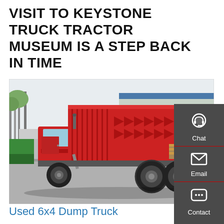VISIT TO KEYSTONE TRUCK TRACTOR MUSEUM IS A STEP BACK IN TIME
[Figure (photo): A large red 6x4 dump truck photographed from a rear three-quarter angle in an outdoor industrial area. The truck has a tall red dump bed with chevron patterns, dual rear axles with large tires, and a red and yellow reflective rear bumper. Trees and a building are visible in the background. A person stands near the front left of the truck.]
Used 6x4 Dump Truck